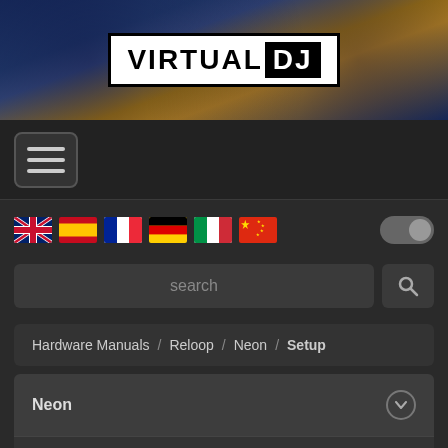[Figure (logo): VirtualDJ logo — white box with black border, 'VIRTUAL' in black bold uppercase and 'DJ' in white on black block. Background is a textured dark blue and yellow gradient banner.]
[Figure (infographic): Navigation bar with hamburger menu button (three horizontal lines in a rounded rectangle border)]
[Figure (infographic): Language selector row showing 6 country flags (UK, Spain, France, Germany, Italy, China) and a toggle switch on the right]
[Figure (screenshot): Search bar with text input field labeled 'search' and a magnifying glass search button]
Hardware Manuals / Reloop / Neon / Setup
Neon
Pads
Setup
Controls